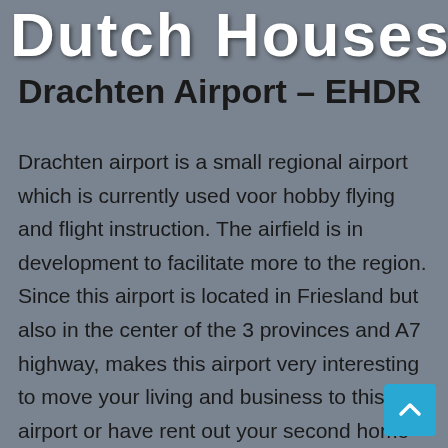Dutch Houses
Drachten Airport – EHDR
Drachten airport is a small regional airport which is currently used voor hobby flying and flight instruction. The airfield is in development to facilitate more to the region. Since this airport is located in Friesland but also in the center of the 3 provinces and A7 highway, makes this airport very interesting to move your living and business to this airport or have rent out your second home as investment. We encourage innovations in aviation in the wides spectrum and easy connection to the local companies busy with synthetic fuel and